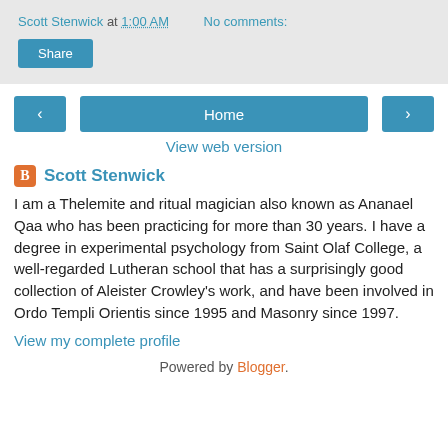Scott Stenwick at 1:00 AM   No comments:
Share
‹
Home
›
View web version
Scott Stenwick
I am a Thelemite and ritual magician also known as Ananael Qaa who has been practicing for more than 30 years. I have a degree in experimental psychology from Saint Olaf College, a well-regarded Lutheran school that has a surprisingly good collection of Aleister Crowley's work, and have been involved in Ordo Templi Orientis since 1995 and Masonry since 1997.
View my complete profile
Powered by Blogger.